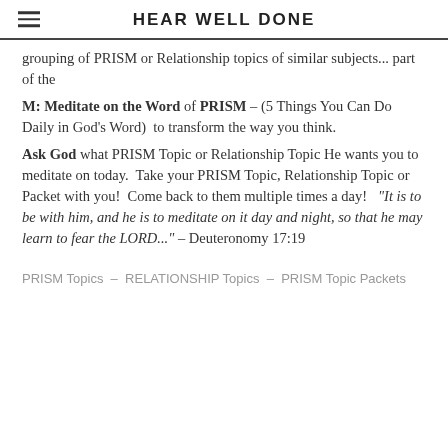HEAR WELL DONE
grouping of PRISM or Relationship topics of similar subjects... part of the M: Meditate on the Word of PRISM – (5 Things You Can Do Daily in God’s Word)  to transform the way you think.
Ask God what PRISM Topic or Relationship Topic He wants you to meditate on today.  Take your PRISM Topic, Relationship Topic or Packet with you!  Come back to them multiple times a day!  “It is to be with him, and he is to meditate on it day and night, so that he may learn to fear the LORD...” – Deuteronomy 17:19
PRISM Topics  –  RELATIONSHIP Topics  –  PRISM Topic Packets